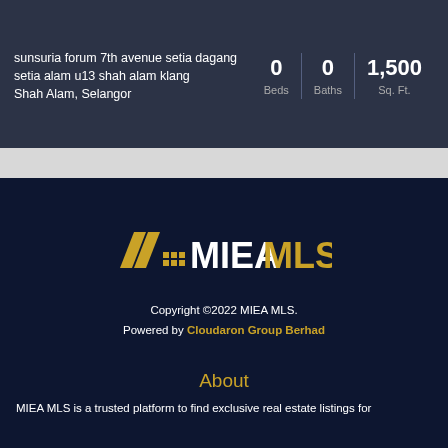sunsuria forum 7th avenue setia dagang setia alam u13 shah alam klang
Shah Alam, Selangor
0 Beds | 0 Baths | 1,500 Sq. Ft.
[Figure (logo): MIEA MLS logo with stylized double-slash and grid icon in gold/yellow on dark background]
Copyright ©2022 MIEA MLS.
Powered by Cloudaron Group Berhad
About
MIEA MLS is a trusted platform to find exclusive real estate listings for